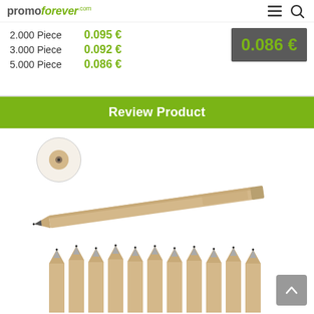promoforever.com — navigation header
| Quantity | Price |
| --- | --- |
| 2.000 Piece | 0.095 € |
| 3.000 Piece | 0.092 € |
| 5.000 Piece | 0.086 € |
0.086 €
Review Product
[Figure (photo): Product photo showing a natural wood pencil with a pencil tip detail inset circle at top, and a row of pencils standing upright at the bottom.]